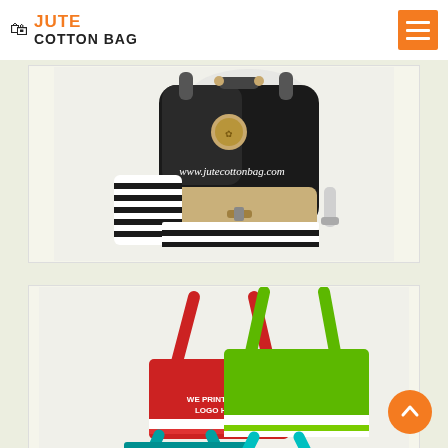JUTE COTTON BAG
[Figure (photo): Black and white striped canvas backpack with gold circular badge. Website text 'www.jutecottonbag.com' visible on the bag.]
[Figure (photo): Two large tote bags — one red and one green — with horizontal stripes at the bottom. Red bag has text 'WE PRINT YOUR LOGO HERE'. A teal/blue bag handle visible at bottom. Orange scroll-to-top button in bottom right.]